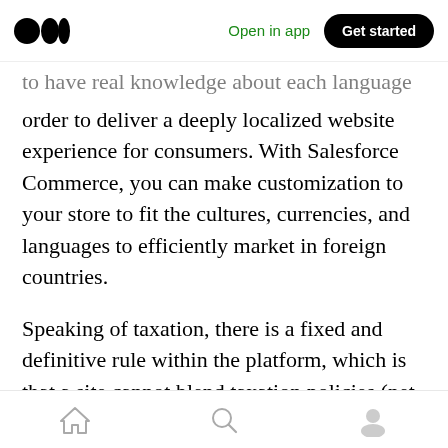Medium logo | Open in app | Get started
to have real knowledge about each language in order to deliver a deeply localized website experience for consumers. With Salesforce Commerce, you can make customization to your store to fit the cultures, currencies, and languages to efficiently market in foreign countries.
Speaking of taxation, there is a fixed and definitive rule within the platform, which is that a site cannot blend taxation policies (net versus gross). The United States and Canada demands net taxation, while most of other countries
Home | Search | Profile